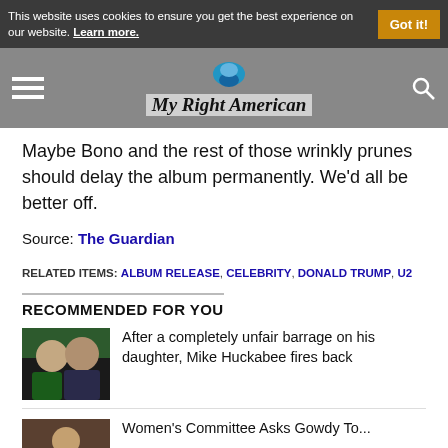This website uses cookies to ensure you get the best experience on our website. Learn more. | Got it!
My Right American
Maybe Bono and the rest of those wrinkly prunes should delay the album permanently. We'd all be better off.
Source: The Guardian
RELATED ITEMS: ALBUM RELEASE, CELEBRITY, DONALD TRUMP, U2
RECOMMENDED FOR YOU
After a completely unfair barrage on his daughter, Mike Huckabee fires back
Women's Committee Asks Gowdy To...